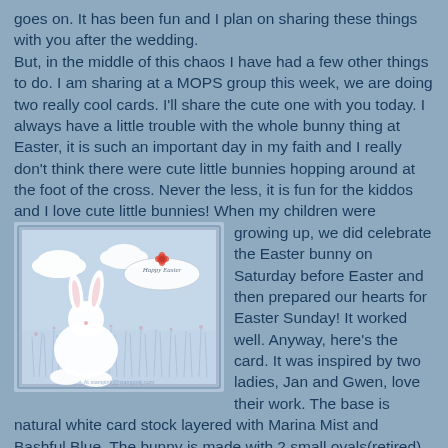goes on. It has been fun and I plan on sharing these things with you after the wedding.
But, in the middle of this chaos I have had a few other things to do. I am sharing at a MOPS group this week, we are doing two really cool cards. I'll share the cute one with you today. I always have a little trouble with the whole bunny thing at Easter, it is such an important day in my faith and I really don't think there were cute little bunnies hopping around at the foot of the cross. Never the less, it is fun for the kiddos and I love cute little bunnies! When my children were growing up, we did celebrate the Easter bunny on Saturday before Easter and then prepared our hearts for Easter Sunday! It worked well. Anyway, here's the card. It was inspired by two ladies, Jan and Gwen, love their work. The base is natural white card stock layered with Marina Mist and Bashful Blue. The bunny is made with 2 small ovals(retired), 1 inch and 1 1/4 inch circles, and the modern label punch for his feet. Oh yes.
[Figure (photo): An Easter card featuring a white paper bunny made from oval and circle punches, set against a blue background with stamped grass/flowers and white cloud die cuts. An oval label reads 'Happy Easter' with a small red flower accent.]